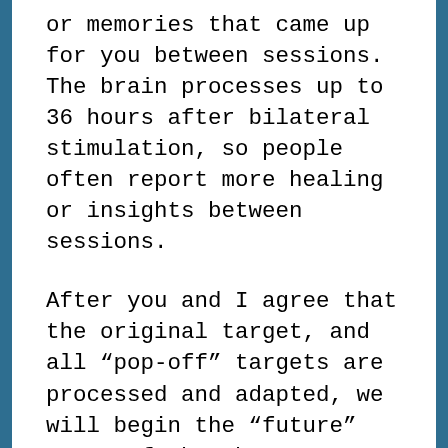or memories that came up for you between sessions. The brain processes up to 36 hours after bilateral stimulation, so people often report more healing or insights between sessions.
After you and I agree that the original target, and all "pop-off" targets are processed and adapted, we will begin the "future" stage of the three-prong approach. The first 8 phases help reprocess the past in order to clear the present triggers. We then can move forward...